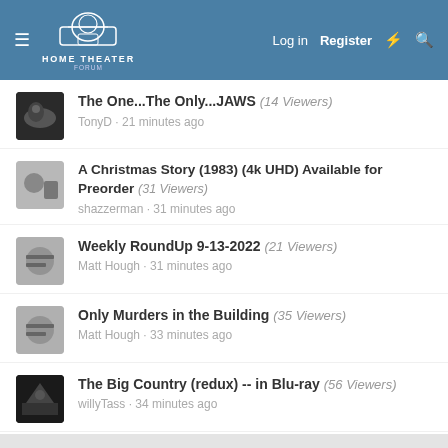Home Theater Forum — Log in | Register
The One...The Only...JAWS (14 Viewers) — TonyD · 21 minutes ago
A Christmas Story (1983) (4k UHD) Available for Preorder (31 Viewers) — shazzerman · 31 minutes ago
Weekly RoundUp 9-13-2022 (21 Viewers) — Matt Hough · 31 minutes ago
Only Murders in the Building (35 Viewers) — Matt Hough · 33 minutes ago
The Big Country (redux) -- in Blu-ray (56 Viewers) — willyTass · 34 minutes ago
MEMBERS ONLINE
Wayne_J, bujaki, ManW_TheUncool, pinknik, Sa5150, TonyD,